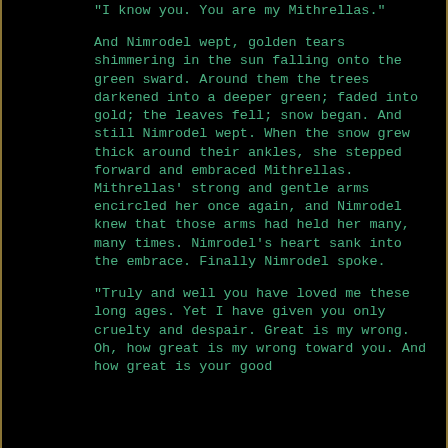"I know you. You are my Mithrellas."
And Nimrodel wept, golden tears shimmering in the sun falling onto the green sward. Around them the trees darkened into a deeper green; faded into gold; the leaves fell; snow began. And still Nimrodel wept. When the snow grew thick around their ankles, she stepped forward and embraced Mithrellas. Mithrellas' strong and gentle arms encircled her once again, and Nimrodel knew that those arms had held her many, many times. Nimrodel's heart sank into the embrace. Finally Nimrodel spoke.
"Truly and well you have loved me these long ages. Yet I have given you only cruelty and despair. Great is my wrong. Oh, how great is my wrong toward you. And how great is your good